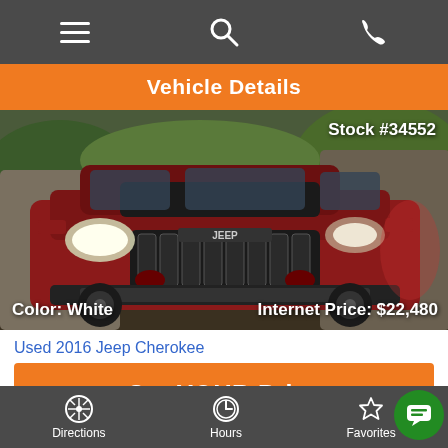Navigation bar with menu, search, and phone icons
Vehicle Details
[Figure (photo): Red Jeep Cherokee SUV photographed from front-left angle outdoors. Stock #34552. Color: White. Internet Price: $22,480]
Used 2016 Jeep Cherokee
Get YOUR Price
Directions | Hours | Favorites